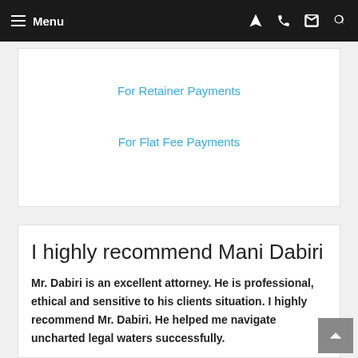Menu
For Retainer Payments
For Flat Fee Payments
I highly recommend Mani Dabiri
Mr. Dabiri is an excellent attorney. He is professional, ethical and sensitive to his clients situation. I highly recommend Mr. Dabiri. He helped me navigate uncharted legal waters successfully.